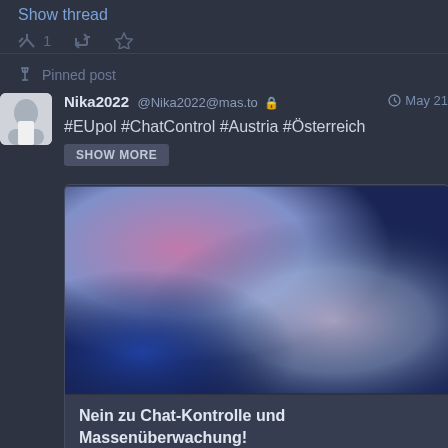Show thread
1 (reply icon) (retweet icon) (star icon)
Pinned post
Nika2022 @Nika2022@mas.to 🔒 May 21
#EUpol #ChatControl #Austria #Österreich
SHOW MORE
[Figure (illustration): Blurred gradient image with pink, purple, and blue tones, used as a link card preview image.]
Nein zu Chat-Kontrolle und Massenüberwachung!
#Aufstehn - Gesellschaft gemeinsam verändern